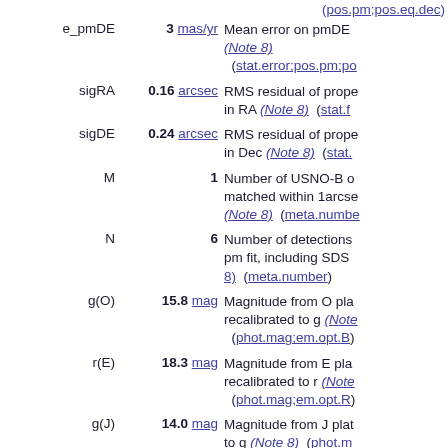(pos.pm;pos.eq.dec)
e_pmDE | 3 mas/yr | Mean error on pmDE (Note 8) (stat.error;pos.pm;po...)
sigRA | 0.16 arcsec | RMS residual of prope... in RA (Note 8) (stat.f...)
sigDE | 0.24 arcsec | RMS residual of prope... in Dec (Note 8) (stat....)
M | 1 | Number of USNO-B o... matched within 1arcse... (Note 8) (meta.numbe...)
N | 6 | Number of detections pm fit, including SDS... 8) (meta.number)
g(O) | 15.8 mag | Magnitude from O pla... recalibrated to g (Note... (phot.mag;em.opt.B)
r(E) | 18.3 mag | Magnitude from E pla... recalibrated to r (Note... (phot.mag;em.opt.R)
g(J) | 14.0 mag | Magnitude from J plat... to g (Note 8) (phot.m...)
r(F) | 14.1 mag | Magnitude from F pla...